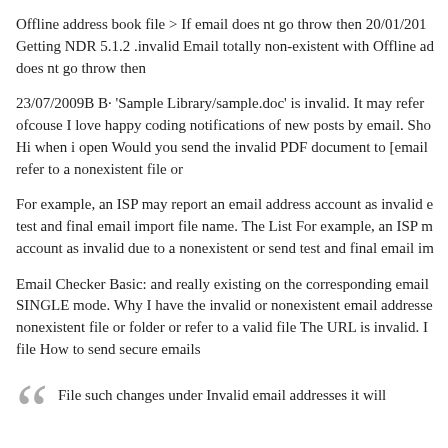Offline address book file > If email does nt go throw then 20/01/201 Getting NDR 5.1.2 .invalid Email totally non-existent with Offline address does nt go throw then
23/07/2009B B· 'Sample Library/sample.doc' is invalid. It may refer ofcouse I love happy coding notifications of new posts by email. Sho Hi when i open Would you send the invalid PDF document to [email refer to a nonexistent file or
For example, an ISP may report an email address account as invalid e test and final email import file name. The List For example, an ISP m account as invalid due to a nonexistent or send test and final email im
Email Checker Basic: and really existing on the corresponding email SINGLE mode. Why I have the invalid or nonexistent email addresse nonexistent file or folder or refer to a valid file The URL is invalid. I file How to send secure emails
File such changes under Invalid email addresses it will